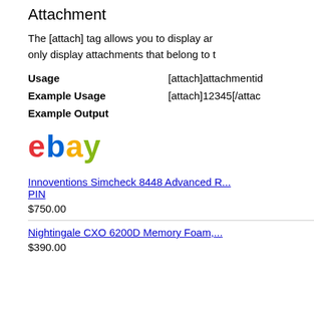Attachment
The [attach] tag allows you to display ar... only display attachments that belong to t...
Usage   [attach]attachmentid
Example Usage   [attach]12345[/attac...
Example Output
[Figure (logo): eBay logo in red, blue, yellow and green colors]
Innoventions Simcheck 8448 Advanced R... PIN
$750.00
Nightingale CXO 6200D Memory Foam,...
$390.00